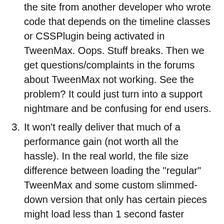the site from another developer who wrote code that depends on the timeline classes or CSSPlugin being activated in TweenMax. Oops. Stuff breaks. Then we get questions/complaints in the forums about TweenMax not working. See the problem? It could just turn into a support nightmare and be confusing for end users.
3. It won't really deliver that much of a performance gain (not worth all the hassle). In the real world, the file size difference between loading the "regular" TweenMax and some custom slimmed-down version that only has certain pieces might load less than 1 second faster (probably not even noticeable). And it has capabilities ripped out.
I've thought a lot about this whole file size issue - over